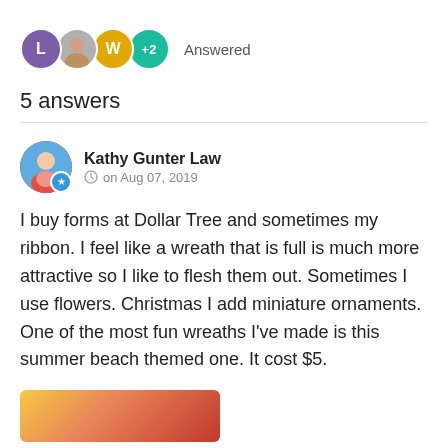[Figure (infographic): Row of user avatar circles: purple 'L', photo avatar, yellow 'W', teal '+2', followed by text 'Answered']
5 answers
[Figure (photo): Circular avatar photo of Kathy Gunter Law with blue star badge]
Kathy Gunter Law   on Aug 07, 2019
I buy forms at Dollar Tree and sometimes my ribbon. I feel like a wreath that is full is much more attractive so I like to flesh them out. Sometimes I use flowers. Christmas I add miniature ornaments. One of the most fun wreaths I've made is this summer beach themed one. It cost $5.
[Figure (photo): Partial thumbnail image at bottom of page, colorful wreath photo]